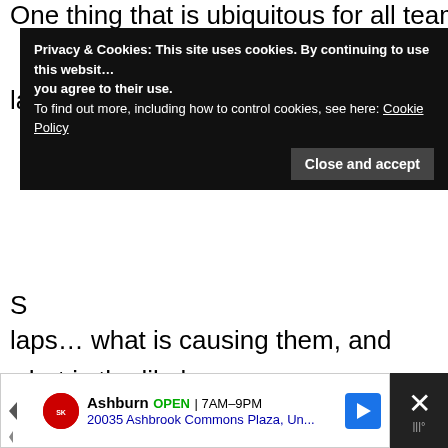One thing that is ubiquitous for all teams is that test la…
[Figure (screenshot): Cookie consent banner overlay with dark background reading: 'Privacy & Cookies: This site uses cookies. By continuing to use this website you agree to their use. To find out more, including how to control cookies, see here: Cookie Policy' with a 'Close and accept' button.]
S
laps... what is causing them, and what is the likely effects upon the teams. We'll look at test goals for each team, and how well they may be meeting them. Such knowledge may be as accurate of a predictor of early race performances as the fastest test lap of the day, if not more so.
[Figure (screenshot): Advertisement banner for Smoothie King in Ashburn, OPEN 7AM-9PM, 20035 Ashbrook Commons Plaza, Un... with navigation arrow icon. Adjacent close button with X mark on dark background.]